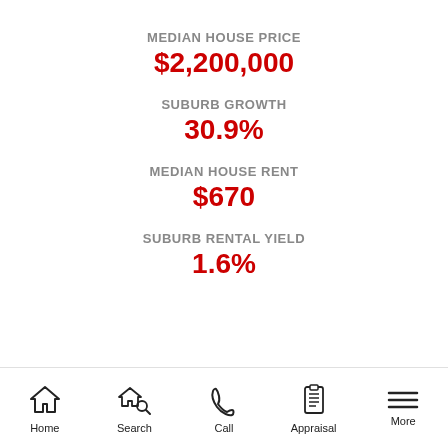MEDIAN HOUSE PRICE
$2,200,000
SUBURB GROWTH
30.9%
MEDIAN HOUSE RENT
$670
SUBURB RENTAL YIELD
1.6%
Home  Search  Call  Appraisal  More